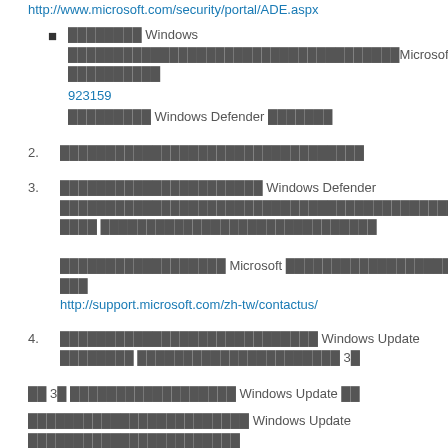http://www.microsoft.com/security/portal/ADE.aspx
xxxxxxxx Windows xxxxxxxxxxxxxxxxxxxxxxxxxxxxxxxxMicrosoft xxxxxxxxxx 923159 xxxxxxxxx Windows Defender xxxxxxx
2. xxxxxxxxxxxxxxxxxxxxxxxxxxxxxxxxx
3. xxxxxxxxxxxxxxxxxxxxxxxxxx Windows Defender xxxxxxxxxxxxxxxxxxxxxxxxxxxxxxxxxxxxxxxxxxxxxxxxxx xxxx xxxxxxxxxxxxxxxxxxxxxxxxxxxxxx

xxxxxxxxxxxxxxxxxx Microsoft xxxxxxxxxxxxxxxxxxxxxxxxx Microsoft xxx
http://support.microsoft.com/zh-tw/contactus/
4. xxxxxxxxxxxxxxxxxxxxxxxxxxxx Windows Update xxxxxxxx xxxxxxxxxxxxxxxxxxxxxx 3x
xx 3x xxxxxxxxxxxxxxxxxx Windows Update xx
xxxxxxxxxxxxxxxxxxxxxxxx Windows Update xxxxxxxxxxxxxxxxxxxxxxx
1. xx Windows Update xxx xxxxxxxxxxxxxxxxxxxxxxxxx Microsoft xxx